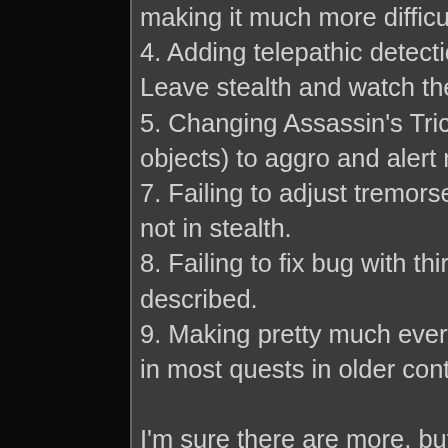making it much more difficult
4. Adding telepathic detection
Leave stealth and watch the
5. Changing Assassin's Trick
objects) to aggro and alert n
7. Failing to adjust tremorsen
not in stealth.
8. Failing to fix bug with third
described.
9. Making pretty much every
in most quests in older conte

I'm sure there are more, but

After repeatedly raising these
us there's no problem with it
usual lack of interest and un
forums.

Finally we had an actual dev
balanced. As if stealth comp
just running and blasting our
fighting a boss and often sor
favourite of having to kill gro
quick, free and easy comple

So no, I wouldn't say the dev
balance issue, have made so
problems and player dissatis
discuss it have been met wi